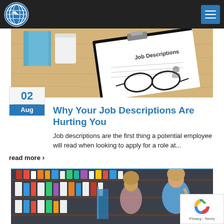[Figure (logo): Globe/compass logo on dark navigation bar with hamburger menu button]
[Figure (photo): Clipboard with 'Job Descriptions' paper and glasses on a wooden desk]
Why Your Job Descriptions Are Hurting You
Job descriptions are the first thing a potential employee will read when looking to apply for a role at...
read more ›
[Figure (photo): Two women looking at shelves of products in a store]